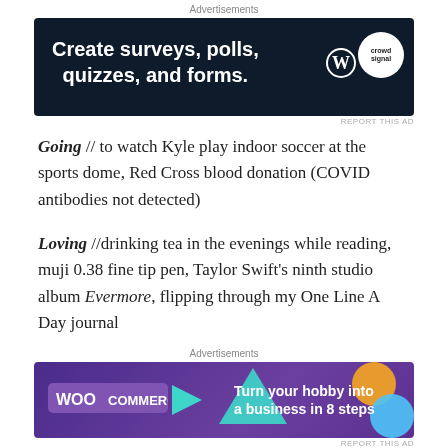[Figure (other): Advertisement banner: dark navy background with white bold text 'Create surveys, polls, quizzes, and forms.' and WordPress and CrowdSignal logos on right]
Going // to watch Kyle play indoor soccer at the sports dome, Red Cross blood donation (COVID antibodies not detected)
Loving //drinking tea in the evenings while reading, muji 0.38 fine tip pen, Taylor Swift's ninth studio album Evermore, flipping through my One Line A Day journal
Dreaming // of a fresh new start with a new year, my second COVID vaccine dose, Cleveland browns Super Bowl
[Figure (other): Advertisement banner: purple background with WooCommerce logo, teal triangle, orange circle, blue circle decorations, text 'Turn your hobby into a business in 8 steps']